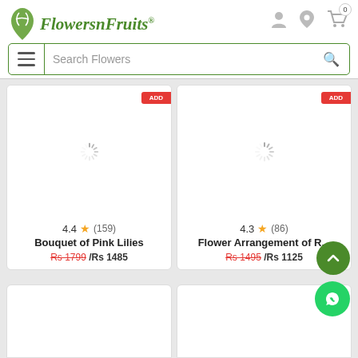FlowersnFruits — Search Flowers header with logo, search bar, and icons
[Figure (screenshot): Product card: Bouquet of Pink Lilies, rating 4.4, 159 reviews, Rs 1799 / Rs 1485, loading spinner]
[Figure (screenshot): Product card: Flower Arrangement of R..., rating 4.3, 86 reviews, Rs 1495 / Rs 1125, loading spinner]
[Figure (screenshot): Bottom partial product card left]
[Figure (screenshot): Bottom partial product card right]